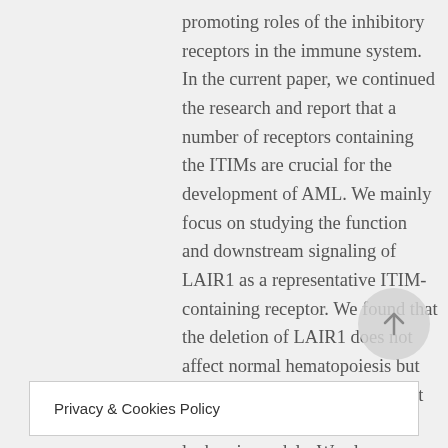promoting roles of the inhibitory receptors in the immune system. In the current paper, we continued the research and report that a number of receptors containing the ITIMs are crucial for the development of AML. We mainly focus on studying the function and downstream signaling of LAIR1 as a representative ITIM-containing receptor. We found that the deletion of LAIR1 does not affect normal hematopoiesis but abolishes leukemia development in several different mouse leukemia models. We also identified a mechanism by which LAIR1 supports AML development, showing that the LAIR1/SHP-1/CAMK1/CREB pathway sustains the survival and self-renewal of AML cells. Importantly, our findings are w
Privacy & Cookies Policy